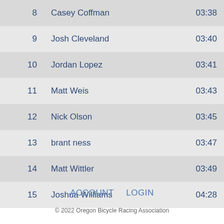| Rank | Name | Time |
| --- | --- | --- |
| 8 | Casey Coffman | 03:38 |
| 9 | Josh Cleveland | 03:40 |
| 10 | Jordan Lopez | 03:41 |
| 11 | Matt Weis | 03:43 |
| 12 | Nick Olson | 03:45 |
| 13 | brant ness | 03:47 |
| 14 | Matt Wittler | 03:49 |
| 15 | Joshua Williams | 04:28 |
ACCOUNT   LOGIN
© 2022 Oregon Bicycle Racing Association